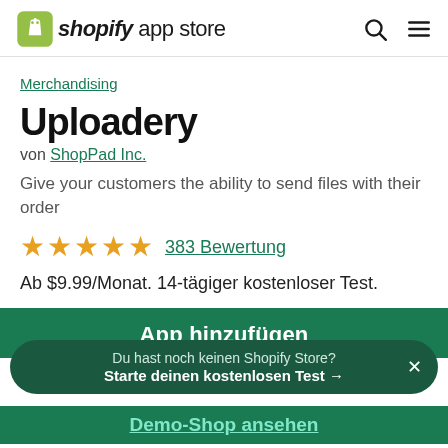shopify app store
Merchandising
Uploadery
von ShopPad Inc.
Give your customers the ability to send files with their order
383 Bewertung
Ab $9.99/Monat. 14-tägiger kostenloser Test.
App hinzufügen
Du hast noch keinen Shopify Store? Starte deinen kostenlosen Test →
Demo-Shop ansehen